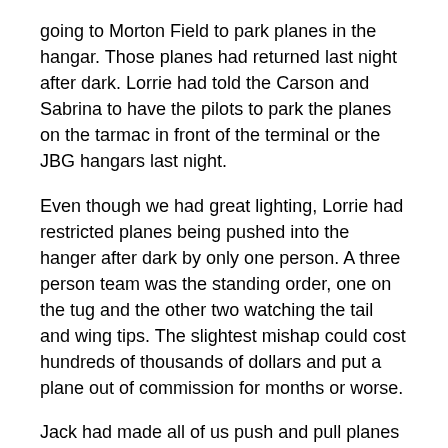going to Morton Field to park planes in the hangar. Those planes had returned last night after dark. Lorrie had told the Carson and Sabrina to have the pilots to park the planes on the tarmac in front of the terminal or the JBG hangars last night.
Even though we had great lighting, Lorrie had restricted planes being pushed into the hanger after dark by only one person. A three person team was the standing order, one on the tug and the other two watching the tail and wing tips. The slightest mishap could cost hundreds of thousands of dollars and put a plane out of commission for months or worse.
Jack had made all of us push and pull planes with the tug many times under his supervision and to the mechanics delight. I think they just wanted to see a comedy of errors.